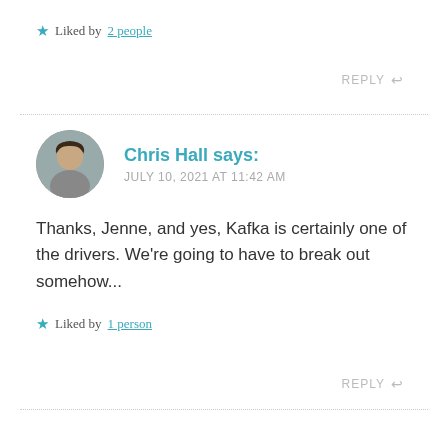★ Liked by 2 people
REPLY ↩
Chris Hall says: JULY 10, 2021 AT 11:42 AM
Thanks, Jenne, and yes, Kafka is certainly one of the drivers. We're going to have to break out somehow...
★ Liked by 1 person
REPLY ↩